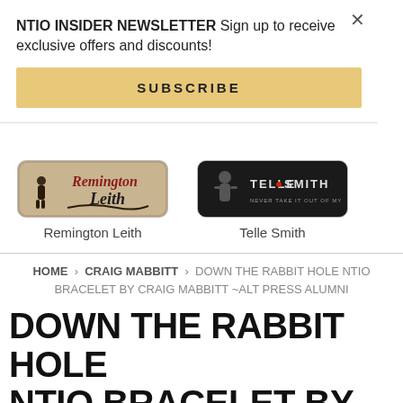NTIO INSIDER NEWSLETTER Sign up to receive exclusive offers and discounts!
SUBSCRIBE
[Figure (logo): Remington Leith artist banner with stylized cursive text logo on marble/stone background with figure silhouette]
Remington Leith
[Figure (logo): Telle Smith artist banner with dark background and bold stylized text logo]
Telle Smith
HOME › CRAIG MABBITT › DOWN THE RABBIT HOLE NTIO BRACELET BY CRAIG MABBITT ~ALT PRESS ALUMNI
DOWN THE RABBIT HOLE NTIO BRACELET BY CRAIG